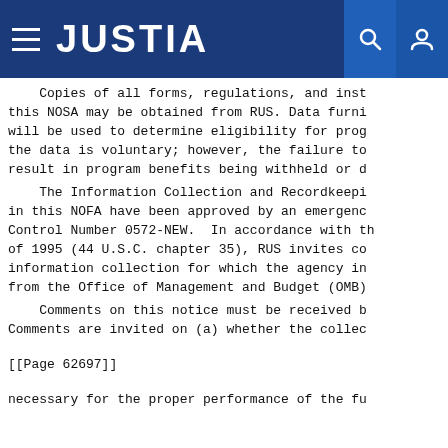JUSTIA
Copies of all forms, regulations, and instructions applicable to this NOSA may be obtained from RUS. Data furnished will be used to determine eligibility for programs; the data is voluntary; however, the failure to result in program benefits being withheld or d
The Information Collection and Recordkeeping in this NOFA have been approved by an emergency Control Number 0572-NEW. In accordance with the of 1995 (44 U.S.C. chapter 35), RUS invites comments on information collection for which the agency invites from the Office of Management and Budget (OMB)
Comments on this notice must be received b Comments are invited on (a) whether the collec
[[Page 62697]]
necessary for the proper performance of the fu